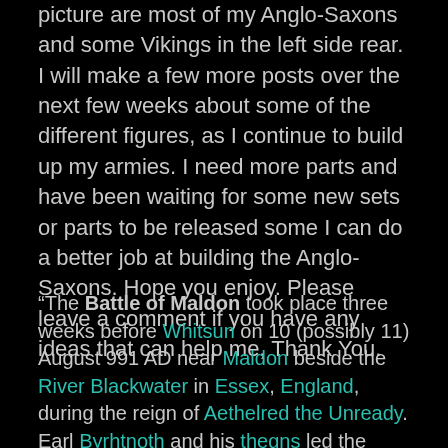picture are most of my Anglo-Saxons and some Vikings in the left side rear. I will make a few more posts over the next few weeks about some of the different figures, as I continue to build up my armies. I need more parts and have been waiting for some new sets or parts to be released some I can do a better job at building the Anglo-Saxons. Hope you enjoy. Please leave a comment if you have any ideas that can help me, Thank You.
“The Battle of Maldon took place three weeks before Whitsun on 10 (possibly 11) August 991 AD near Maldon beside the River Blackwater in Essex, England, during the reign of Aethelred the Unready. Earl Byrhtnoth and his thegns led the English against a Viking invasion. The battle ended in an Anglo-Saxon